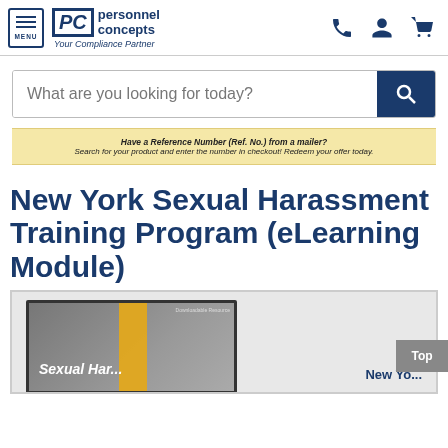Personnel Concepts — Your Compliance Partner
What are you looking for today?
Have a Reference Number (Ref. No.) from a mailer? Search for your product and enter the number in checkout! Redeem your offer today.
New York Sexual Harassment Training Program (eLearning Module)
[Figure (screenshot): Product screenshot showing Sexual Harassment training module interface with a clipboard and New York eLearning module preview]